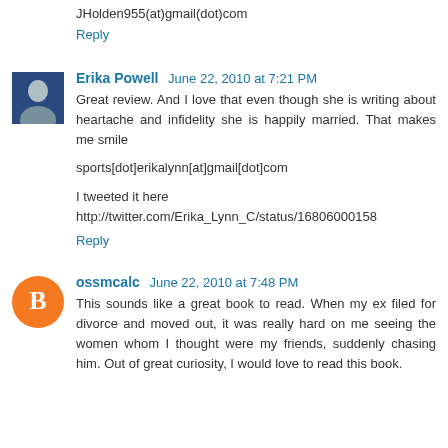JHolden955(at)gmail(dot)com
Reply
Erika Powell  June 22, 2010 at 7:21 PM
Great review. And I love that even though she is writing about heartache and infidelity she is happily married. That makes me smile
sports[dot]erikalynn[at]gmail[dot]com
I tweeted it here
http://twitter.com/Erika_Lynn_C/status/16806000158
Reply
ossmcalc  June 22, 2010 at 7:48 PM
This sounds like a great book to read. When my ex filed for divorce and moved out, it was really hard on me seeing the women whom I thought were my friends, suddenly chasing him. Out of great curiosity, I would love to read this book.